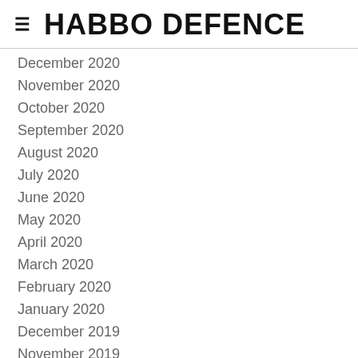≡ HABBO DEFENCE
December 2020
November 2020
October 2020
September 2020
August 2020
July 2020
June 2020
May 2020
April 2020
March 2020
February 2020
January 2020
December 2019
November 2019
October 2019
September 2019
August 2019